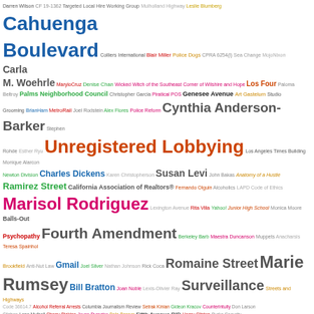[Figure (infographic): Tag cloud / word cloud featuring topics related to Los Angeles city government, public records, ethics ordinances, and community organizations. Words appear in varying sizes and colors (teal, green, orange, blue, purple, red, gray, dark) indicating frequency or relevance. Notable large terms include: Cahuenga Boulevard, Unregistered Lobbying, Cynthia Anderson-Barker, Marisol Rodriguez, Fourth Amendment, Romaine Street, Marie Rumsey, Surveillance, Cory Spencer v. Lunada Bay Boys, BID Consortium, Clean Streets Initiative, and many smaller terms.]